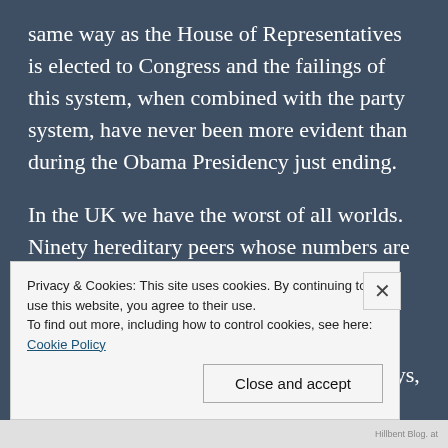same way as the House of Representatives is elected to Congress and the failings of this system, when combined with the party system, have never been more evident than during the Obama Presidency just ending.
In the UK we have the worst of all worlds. Ninety hereditary peers whose numbers are replenished through elections by the hereditaries themselves. To this are added twenty-six Bishops, god help me, and an ever increasing number of jobs-for-the boys, favour-repaying appointments of former Prime Ministers, currently numbering in the
Privacy & Cookies: This site uses cookies. By continuing to use this website, you agree to their use.
To find out more, including how to control cookies, see here: Cookie Policy
Close and accept